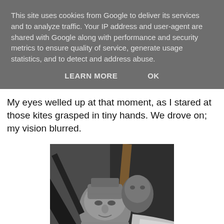This site uses cookies from Google to deliver its services and to analyze traffic. Your IP address and user-agent are shared with Google along with performance and security metrics to ensure quality of service, generate usage statistics, and to detect and address abuse.
LEARN MORE   OK
My eyes welled up at that moment, as I stared at those kites grasped in tiny hands. We drove on; my vision blurred.
[Figure (photo): Black and white photograph of carved stone Buddha/deity faces and statue fragments, with wooden or metal poles crossing in front of them, and white fabric or plastic material visible in the background.]